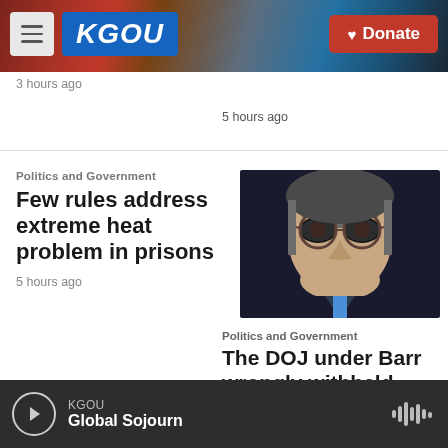KGOU - Donate
3 hours ago
5 hours ago
Politics and Government
Few rules address extreme heat problem in prisons
5 hours ago
[Figure (photo): Headshot of a man with round glasses wearing a dark suit]
Politics and Government
The DOJ under Barr wrongly withheld parts of a Russia probe memo, a
KGOU Global Sojourn